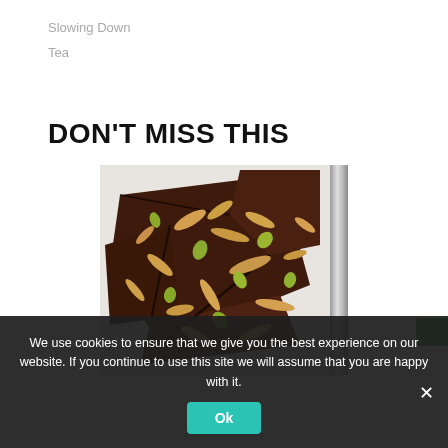Slowing Down
Tea
DON'T MISS THIS
[Figure (photo): A book cover showing chocolate bark topped with sliced almonds and pistachios, broken into irregular pieces on white parchment paper. The book has a light grey spine visible on the right side.]
We use cookies to ensure that we give you the best experience on our website. If you continue to use this site we will assume that you are happy with it.